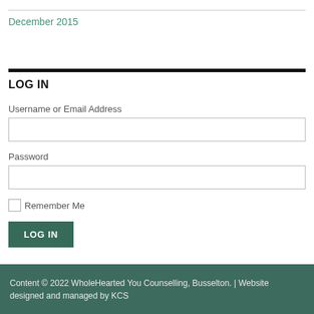December 2015
LOG IN
Username or Email Address
Password
Remember Me
LOG IN
Content © 2022 WholeHearted You Counselling, Busselton. | Website designed and managed by KCS